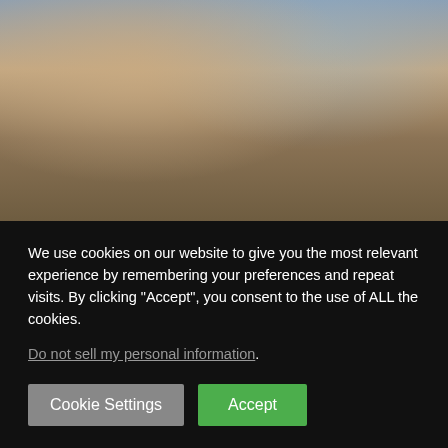[Figure (photo): A photograph showing what appears to be drinks/glasses on a table with colorful background artwork]
To revisit Magnum and Higgins' relationship, watch Magnum P.I. online.
Who breaks up with their significant other first, Magnum or Higgins?
We use cookies on our website to give you the most relevant experience by remembering your preferences and repeat visits. By clicking “Accept”, you consent to the use of ALL the cookies.
Do not sell my personal information.